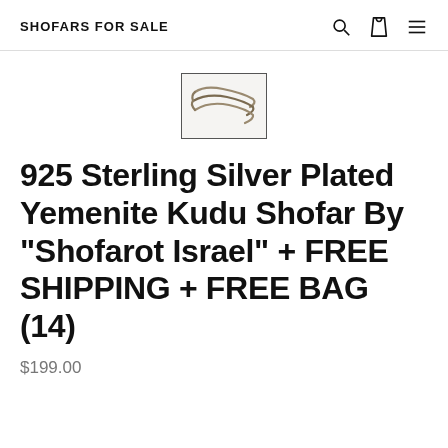SHOFARS FOR SALE
[Figure (photo): Small thumbnail image of curved shofar horns, silver-toned, shown against a light background, inside a rectangular border.]
925 Sterling Silver Plated Yemenite Kudu Shofar By "Shofarot Israel" + FREE SHIPPING + FREE BAG (14)
$199.00